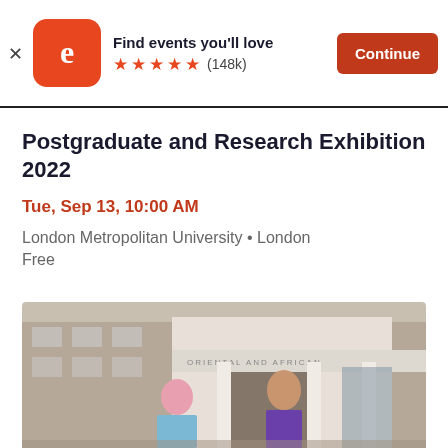Find events you'll love ★★★★★ (148k) Continue
Postgraduate and Research Exhibition 2022
Tue, Sep 13, 10:00 AM
London Metropolitan University • London
Free
[Figure (photo): Two people standing outside a building with the words 'ORIENTAL AND AFRICAN' visible on the facade. One person has pink hair and a floral shirt, the other wears a purple vest. The building appears to be a university campus.]